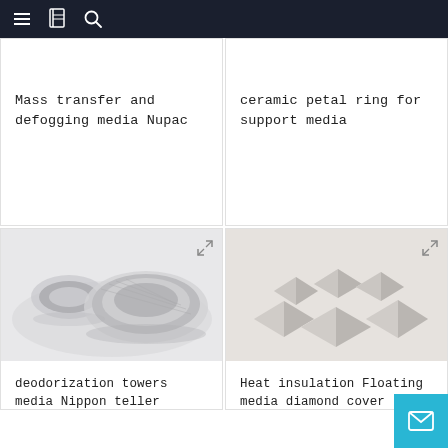Navigation bar with menu, book, and search icons
Mass transfer and defogging media Nupac
ceramic petal ring for support media
[Figure (photo): Two transparent plastic rosette ring packing media pieces on white background - deodorization towers media Nippon teller rosette ring]
deodorization towers media Nippon teller rosette ring
[Figure (photo): Several white ceramic diamond-shaped pieces arranged on white background - Heat insulation Floating media diamond cover]
Heat insulation Floating media diamond cover